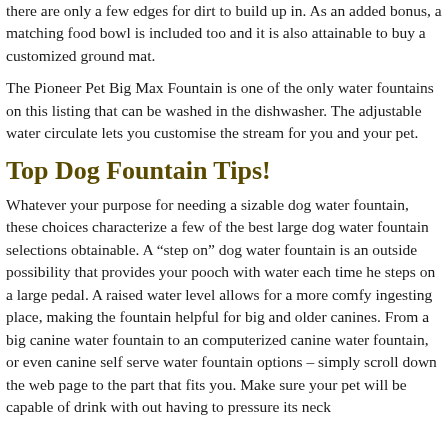there are only a few edges for dirt to build up in. As an added bonus, a matching food bowl is included too and it is also attainable to buy a customized ground mat.
The Pioneer Pet Big Max Fountain is one of the only water fountains on this listing that can be washed in the dishwasher. The adjustable water circulate lets you customise the stream for you and your pet.
Top Dog Fountain Tips!
Whatever your purpose for needing a sizable dog water fountain, these choices characterize a few of the best large dog water fountain selections obtainable. A “step on” dog water fountain is an outside possibility that provides your pooch with water each time he steps on a large pedal. A raised water level allows for a more comfy ingesting place, making the fountain helpful for big and older canines. From a big canine water fountain to an computerized canine water fountain, or even canine self serve water fountain options – simply scroll down the web page to the part that fits you. Make sure your pet will be capable of drink with out having to pressure its neck